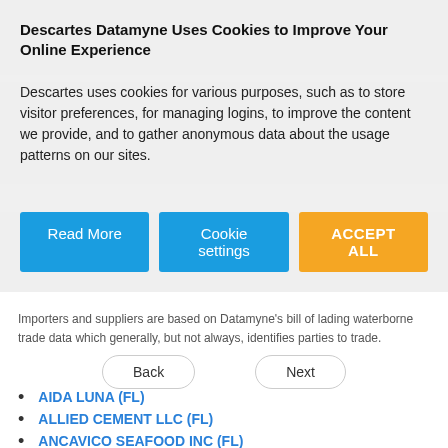Descartes Datamyne Uses Cookies to Improve Your Online Experience
Descartes uses cookies for various purposes, such as to store visitor preferences, for managing logins, to improve the content we provide, and to gather anonymous data about the usage patterns on our sites.
Importers and suppliers are based on Datamyne's bill of lading waterborne trade data which generally, but not always, identifies parties to trade.
AIDA LUNA (FL)
ALLIED CEMENT LLC (FL)
ANCAVICO SEAFOOD INC (FL)